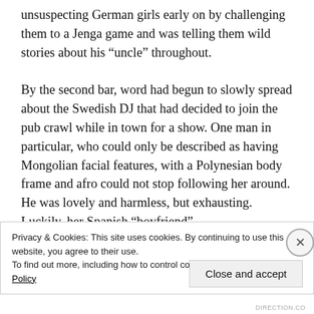unsuspecting German girls early on by challenging them to a Jenga game and was telling them wild stories about his “uncle” throughout.

By the second bar, word had begun to slowly spread about the Swedish DJ that had decided to join the pub crawl while in town for a show. One man in particular, who could only be described as having Mongolian facial features, with a Polynesian body frame and afro could not stop following her around. He was lovely and harmless, but exhausting. Luckily, her Spanish “boyfriend”
Privacy & Cookies: This site uses cookies. By continuing to use this website, you agree to their use.
To find out more, including how to control cookies, see here: Cookie Policy
Close and accept